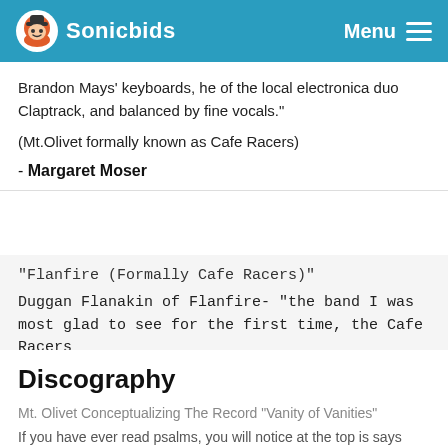Sonicbids  Menu
Brandon Mays' keyboards, he of the local electronica duo Claptrack, and balanced by fine vocals."
(Mt.Olivet formally known as Cafe Racers)
- Margaret Moser
"Flanfire (Formally Cafe Racers)"
Duggan Flanakin of Flanfire- "the band I was most glad to see for the first time, the Cafe Racers
Discography
Mt. Olivet Conceptualizing The Record "Vanity of Vanities"
If you have ever read psalms, you will notice at the top is says something like For the Choir Director or For the Music Director etc.. This record really started there.
Vanity of Vanities